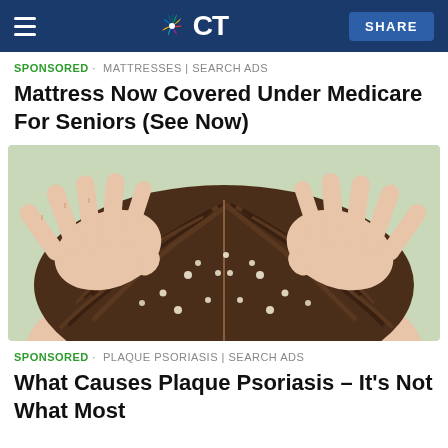NBC CT
SPONSORED · MATTRESSES | SEARCH ADS
Mattress Now Covered Under Medicare For Seniors (See Now)
[Figure (illustration): Illustration of two hands with fingers spread through dark brown hair, parting sections of hair to reveal small white flakes/particles on the scalp, against a light green background.]
SPONSORED · PLAQUE PSORIASIS | SEARCH ADS
What Causes Plaque Psoriasis – It's Not What Most